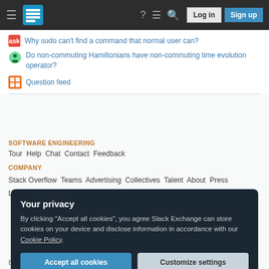Stack Exchange navigation bar with Log in and Sign up buttons
Why sudo can't find a command that normal user can?
Do non-commuting Hamiltonians have non-commuting time evolution operator?
Question feed
SOFTWARE ENGINEERING
Tour  Help  Chat  Contact  Feedback
COMPANY
Stack Overflow  Teams  Advertising  Collectives  Talent  About  Press
Legal  Privacy Policy  Terms of Service  Cookie Settings  Cookie Policy
Your privacy
By clicking "Accept all cookies", you agree Stack Exchange can store cookies on your device and disclose information in accordance with our Cookie Policy.
Accept all cookies  Customize settings
Blog  Facebook  Twitter  LinkedIn  Instagram